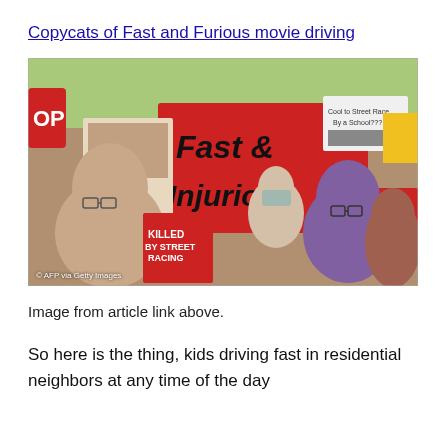Copycats of Fast and Furious movie driving
[Figure (photo): Protest crowd holding signs including a large red sign reading 'Fast & Injurious', signs reading 'KILLED BY STREET RACING', 'I was', 'KILLER STREET RACING', 'Cool to Street Race By a School???', 'My daughter was'. AFP via Getty Images watermark visible.]
Image from article link above.
So here is the thing, kids driving fast in residential neighbors at any time of the day